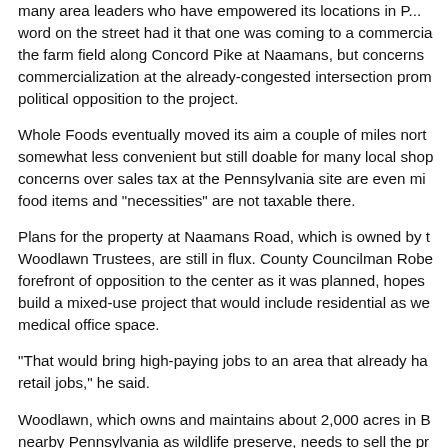many area leaders who have empowered its locations in P... word on the street had it that one was coming to a commercial the farm field along Concord Pike at Naamans, but concerns commercialization at the already-congested intersection prom political opposition to the project.
Whole Foods eventually moved its aim a couple of miles nort somewhat less convenient but still doable for many local shop concerns over sales tax at the Pennsylvania site are even mi food items and "necessities" are not taxable there.
Plans for the property at Naamans Road, which is owned by t Woodlawn Trustees, are still in flux. County Councilman Rob forefront of opposition to the center as it was planned, hopes build a mixed-use project that would include residential as we medical office space.
"That would bring high-paying jobs to an area that already ha retail jobs," he said.
Woodlawn, which owns and maintains about 2,000 acres in B nearby Pennsylvania as wildlife preserve, needs to sell the pr tax bill, Weiner said.
"We're not anti-development" when it comes to the property, W pro-responsible development."